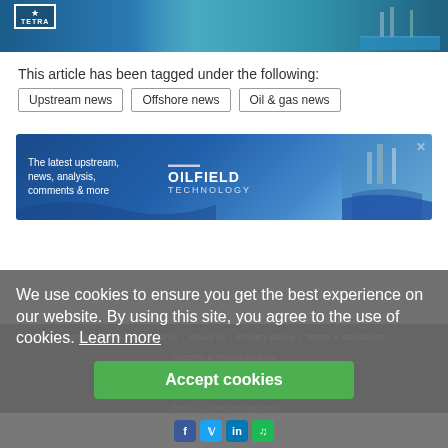[Figure (photo): TETRA company banner image showing offshore/industrial facility with blue water, TETRA logo visible at left]
This article has been tagged under the following:
Upstream news
Offshore news
Oil & gas news
[Figure (screenshot): Advertisement banner: 'The latest upstream, news, analysis, comments & more' with Oilfield Technology logo and offshore rig image]
Home | News | Contact us | About us | Privacy policy | Terms & conditions | Security & enable cookies | All rights reserved | Tel: +44 (0)1252 718 999 | Email: ...oiltechnology.com
We use cookies to ensure you get the best experience on our website. By using this site, you agree to the use of cookies. Learn more
Accept cookies